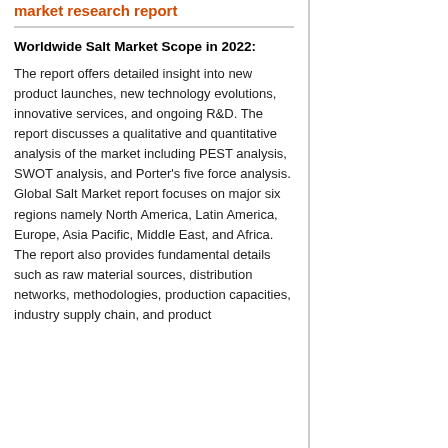market research report
Worldwide Salt Market Scope in 2022:
The report offers detailed insight into new product launches, new technology evolutions, innovative services, and ongoing R&D. The report discusses a qualitative and quantitative analysis of the market including PEST analysis, SWOT analysis, and Porter's five force analysis. Global Salt Market report focuses on major six regions namely North America, Latin America, Europe, Asia Pacific, Middle East, and Africa. The report also provides fundamental details such as raw material sources, distribution networks, methodologies, production capacities, industry supply chain, and product